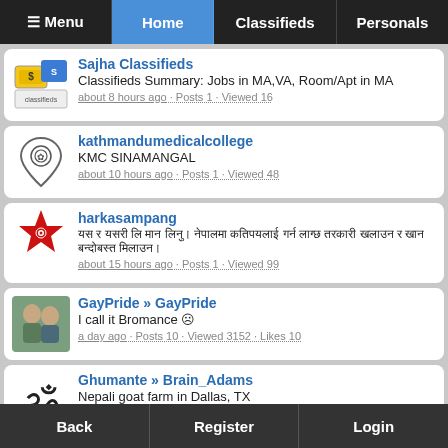Menu | Home | Classifieds | Personals
Sajha Classifieds
Classifieds Summary: Jobs in MA,VA, Room/Apt in MA
about 8 hours ago · Posts 1 · Viewed 16
kathmandumedicalcollege
KMC SINAMANGAL
about 10 hours ago · Posts 1 · Viewed 48
harkasampang
[Nepali text]
about 15 hours ago · Posts 1 · Viewed 99
GayPride » GayPride
I call it Bromance ☹
a day ago · Posts 10 · Viewed 3152 · Likes 10
Ghumante » Brain_Adams
Nepali goat farm in Dallas, TX
a day ago · Posts 19 · Viewed 1365 · Likes 1
Back | Register | Login